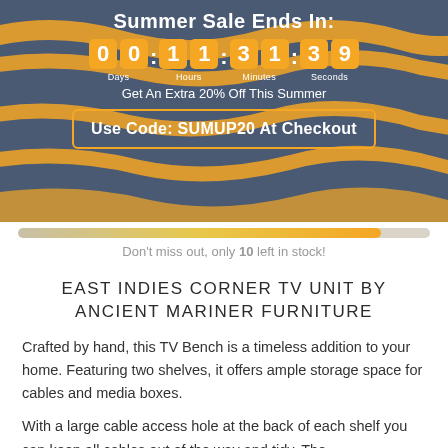Summer Sale Ends In:
00 Days 11 Hours 31 Minutes 39 Seconds
Get An Extra 20% Off This Summer
Use Code: SUMUP20 At Checkout
Don't miss out, only 10 left in stock!
EAST INDIES CORNER TV UNIT BY ANCIENT MARINER FURNITURE
Crafted by hand, this TV Bench is a timeless addition to your home. Featuring two shelves, it offers ample storage space for cables and media boxes.
With a large cable access hole at the back of each shelf you can keep all cables out of the way and tidy. The